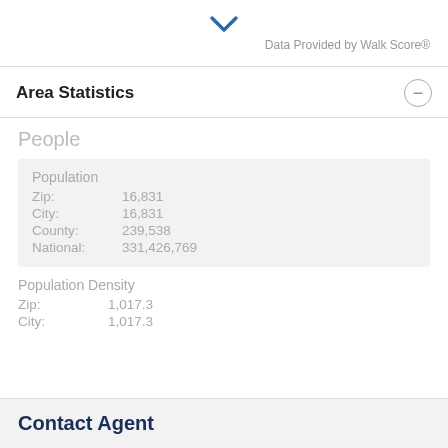[Figure (other): Blue downward chevron arrow icon]
Data Provided by Walk Score®
Area Statistics
People
|  |  |
| --- | --- |
| Population |  |
| Zip: | 16,831 |
| City: | 16,831 |
| County: | 239,538 |
| National: | 331,426,769 |
|  |  |
| --- | --- |
| Population Density |  |
| Zip: | 1,017.3 |
| City: | 1,017.3 |
Contact Agent